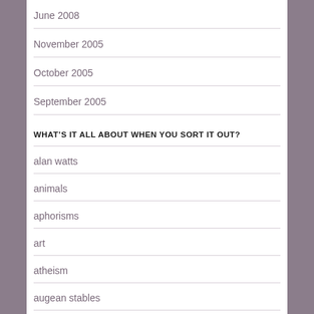June 2008
November 2005
October 2005
September 2005
WHAT'S IT ALL ABOUT WHEN YOU SORT IT OUT?
alan watts
animals
aphorisms
art
atheism
augean stables
battling personal entropy
beards
bonsai minimalism